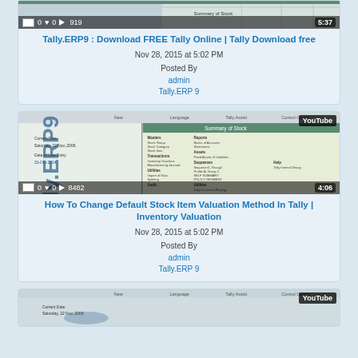[Figure (screenshot): YouTube thumbnail showing Tally.ERP9 software interface with stock summary screen. Overlay shows 0 comments, 0 likes, 919 views, duration 5:37.]
Tally.ERP9 : Download FREE Tally Online | Tally Download free
Nov 28, 2015 at 5:02 PM
Posted By admin
Tally.ERP 9
[Figure (screenshot): YouTube thumbnail showing Tally.ERP9 software interface with 'Tally.ERP9' watermark vertically on left panel and inventory/report menu on right panel. Overlay shows 0 comments, 0 likes, 8482 views, duration 4:06.]
How To Change Default Stock Item Valuation Method In Tally | Inventory Valuation
Nov 28, 2015 at 5:02 PM
Posted By admin
Tally.ERP 9
[Figure (screenshot): YouTube thumbnail partially visible at bottom of page showing Tally.ERP9 software interface with navigation bar.]